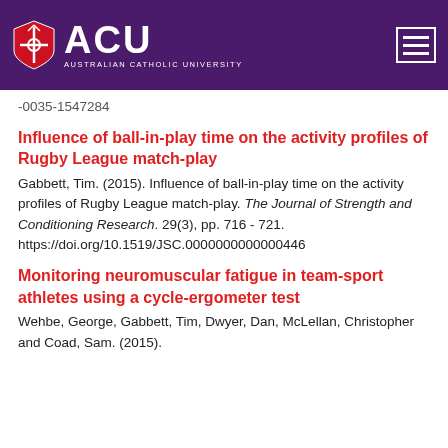[Figure (logo): ACU Australian Catholic University logo with shield icon on purple header background, plus hamburger menu icon]
-0035-1547284
Influence of ball-in-play time on the activity profiles of Rugby League match-play
Gabbett, Tim. (2015). Influence of ball-in-play time on the activity profiles of Rugby League match-play. The Journal of Strength and Conditioning Research. 29(3), pp. 716 - 721. https://doi.org/10.1519/JSC.0000000000000446
Monitoring neuromuscular fatigue in team-sport athletes using a cycle-ergometer test
Wehbe, George, Gabbett, Tim, Dwyer, Dan, McLellan, Christopher and Coad, Sam. (2015).